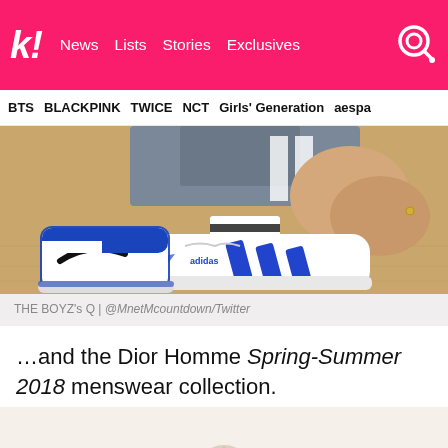k! News Lists Stories Exclusives
BTS BLACKPINK TWICE NCT Girls' Generation aespa
[Figure (photo): Close-up photo of feet/sneakers on a wooden floor. Blue and white Adidas Forum sneakers with blue stripes worn with striped socks, and blue/white Nike Air Jordan 1 sneakers visible in background. Person wearing grey shorts squatting down.]
THE BOYZ's Q | @MnetMcountdown/Twitter
…and the Dior Homme Spring-Summer 2018 menswear collection.
[Figure (photo): Partial view of a beige/nude shoe, likely from the Dior Homme Spring-Summer 2018 menswear collection.]